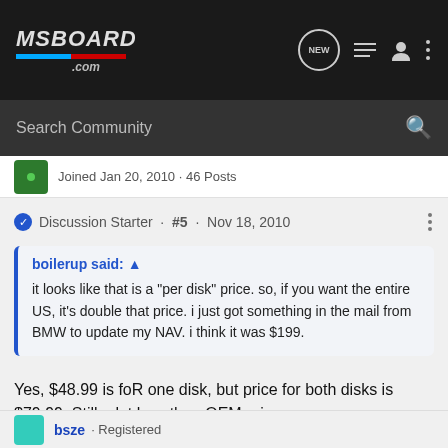MSBOARD.com
Search Community
Joined Jan 20, 2010 · 46 Posts
Discussion Starter · #5 · Nov 18, 2010
boilerup said: ↑
it looks like that is a "per disk" price. so, if you want the entire US, it's double that price. i just got something in the mail from BMW to update my NAV. i think it was $199.
Yes, $48.99 is foR one disk, but price for both disks is $79.99. Still a lot less than OEM price
bsze · Registered